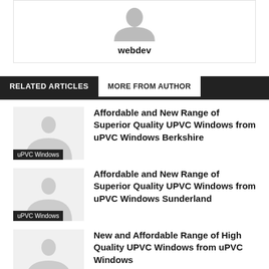[Figure (illustration): Author avatar placeholder grey silhouette above username 'webdev']
webdev
RELATED ARTICLES
MORE FROM AUTHOR
Affordable and New Range of Superior Quality UPVC Windows from uPVC Windows Berkshire
Affordable and New Range of Superior Quality UPVC Windows from uPVC Windows Sunderland
New and Affordable Range of High Quality UPVC Windows from uPVC Windows